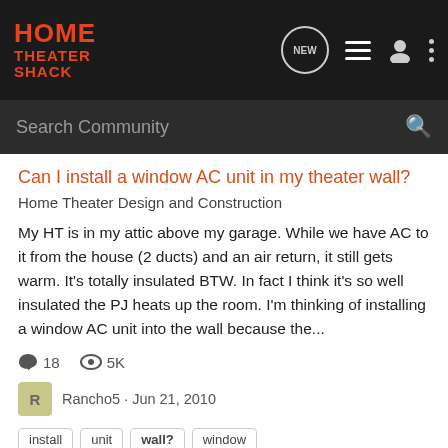HOME THEATER SHACK — navigation bar with logo, NEW chat button, list icon, user icon, menu dots
Search Community
Can I install a window AC unit in my theater wall?
Home Theater Design and Construction
My HT is in my attic above my garage. While we have AC to it from the house (2 ducts) and an air return, it still gets warm. It's totally insulated BTW. In fact I think it's so well insulated the PJ heats up the room. I'm thinking of installing a window AC unit into the wall because the...
18  5K
Rancho5 · Jun 21, 2010
install
unit
wall?
window
How best to mount a velvet frame for screen painted on wall?